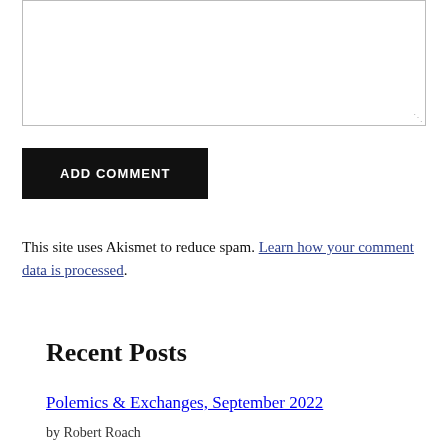[Figure (other): Empty comment textarea input box with resize handle at bottom right]
ADD COMMENT
This site uses Akismet to reduce spam. Learn how your comment data is processed.
Recent Posts
Polemics & Exchanges, September 2022
by Robert Roach